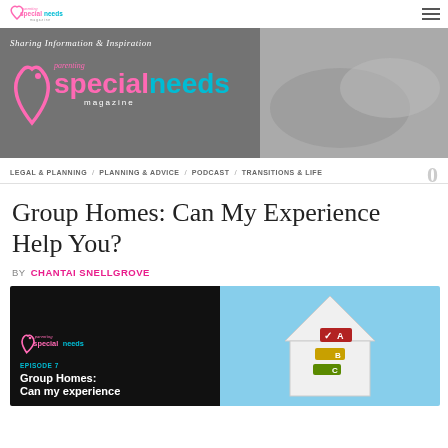parenting specialneeds magazine — Sharing Information & Inspiration
LEGAL & PLANNING / PLANNING & ADVICE / PODCAST / TRANSITIONS & LIFE
Group Homes: Can My Experience Help You?
BY CHANTAI SNELLGROVE
[Figure (photo): Podcast episode card for Episode 7 'Group Homes: Can my experience' on black background (left), and a photo of a house-shaped object with colored rating labels A, B, C on blue background (right)]